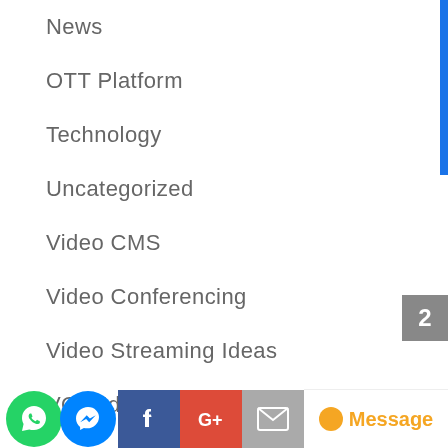News
OTT Platform
Technology
Uncategorized
Video CMS
Video Conferencing
Video Streaming Ideas
VOD Ideas
YouTube business
YouTube Streaming